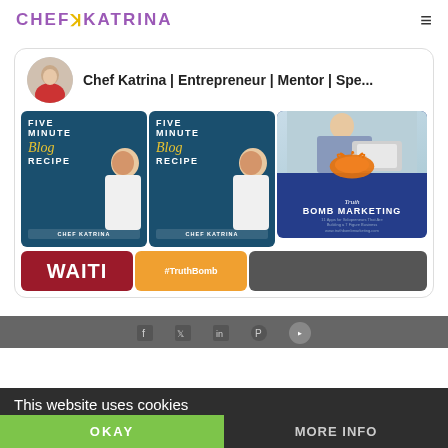CHEF K KATRINA
Chef Katrina | Entrepreneur | Mentor | Spe...
[Figure (illustration): Two identical book covers titled 'Five Minute Blog Recipe' by Chef Katrina, teal background with chef figure]
[Figure (photo): Truth Bomb Marketing book cover with photo of woman at laptop and orange paint splash]
[Figure (illustration): Red tile with text WAITI (Wait) and orange tile with #TruthBomb]
This website uses cookies
OKAY
MORE INFO